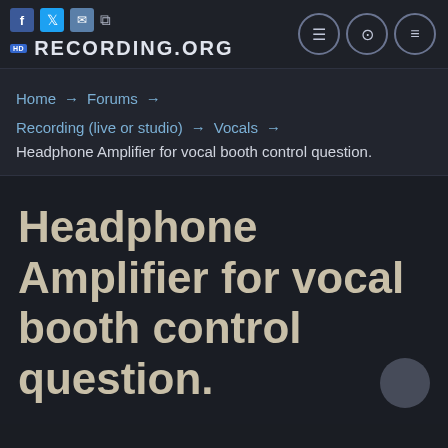RECORDING.ORG
Home → Forums → Recording (live or studio) → Vocals → Headphone Amplifier for vocal booth control question.
Headphone Amplifier for vocal booth control question.